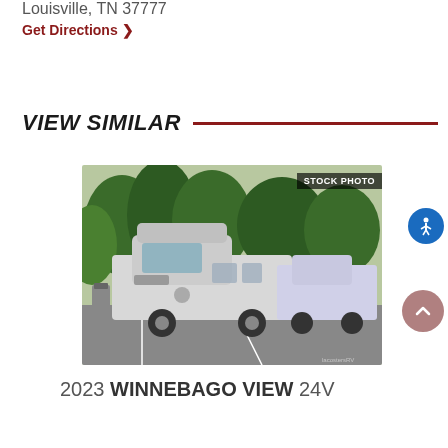Louisville, TN 37777
Get Directions ❯
VIEW SIMILAR
[Figure (photo): Stock photo of a 2023 Winnebago View 24V RV motorhome parked in a lot with trees in the background. A 'STOCK PHOTO' badge appears in the upper right corner of the image.]
2023 WINNEBAGO VIEW 24V